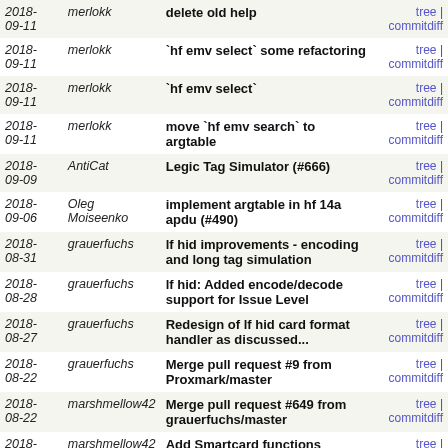| Date | Author | Commit message | Links |
| --- | --- | --- | --- |
| 2018-09-11 | merlokk | delete old help | tree | commitdiff |
| 2018-09-11 | merlokk | `hf emv select` some refactoring | tree | commitdiff |
| 2018-09-11 | merlokk | `hf emv select` | tree | commitdiff |
| 2018-09-11 | merlokk | move `hf emv search` to argtable | tree | commitdiff |
| 2018-09-09 | AntiCat | Legic Tag Simulator (#666) | tree | commitdiff |
| 2018-09-06 | Oleg Moiseenko | implement argtable in hf 14a apdu (#490) | tree | commitdiff |
| 2018-08-31 | grauerfuchs | lf hid improvements - encoding and long tag simulation | tree | commitdiff |
| 2018-08-28 | grauerfuchs | lf hid: Added encode/decode support for Issue Level | tree | commitdiff |
| 2018-08-27 | grauerfuchs | Redesign of lf hid card format handler as discussed... | tree | commitdiff |
| 2018-08-22 | grauerfuchs | Merge pull request #9 from Proxmark/master | tree | commitdiff |
| 2018-08-22 | marshmellow42 | Merge pull request #649 from grauerfuchs/master | tree | commitdiff |
| 2018-08-21 | marshmellow42 | Add Smartcard functions (RDV4.0) (#646) | tree | commitdiff |
| 2018-08-19 | grauerfuchs | Adding native support for HID long-format 649/head | tree | commitdiff |